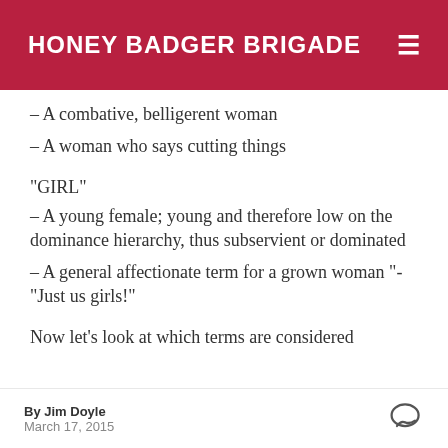HONEY BADGER BRIGADE
– A combative, belligerent woman
– A woman who says cutting things
“GIRL”
– A young female; young and therefore low on the dominance hierarchy, thus subservient or dominated
– A general affectionate term for a grown woman “- “Just us girls!”
Now let’s look at which terms are considered
By Jim Doyle
March 17, 2015